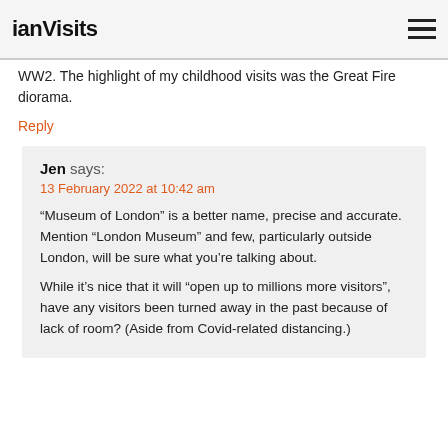ianVisits
WW2. The highlight of my childhood visits was the Great Fire diorama.
Reply
Jen says:
13 February 2022 at 10:42 am

“Museum of London” is a better name, precise and accurate. Mention “London Museum” and few, particularly outside London, will be sure what you’re talking about.

While it’s nice that it will “open up to millions more visitors”, have any visitors been turned away in the past because of lack of room? (Aside from Covid-related distancing.)